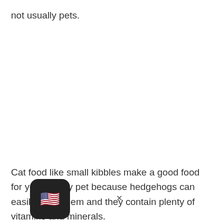not usually pets.
Cat food like small kibbles make a good food for your spikey pet because hedgehogs can easily chew them and they contain plenty of vitamins and minerals.